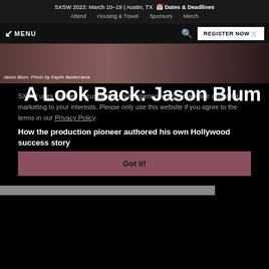SXSW 2023: March 10–19 | Austin, TX 📅 Dates & Deadlines
Attend  Housing & Travel  Sponsors  Merch
MENU  [search]  REGISTER NOW
[Figure (photo): Photo of Jason Blum with caption: Jason Blum. Photo by Kaylin Balderrama]
Jason Blum. Photo by Kaylin Balderrama
A Look Back: Jason Blum
How the production pioneer authored his own Hollywood success story
SXSW uses cookies to customize your experience on the website and tailor marketing to your interests. Please only use this website if you agree to the terms in our Privacy Policy.
Got it!